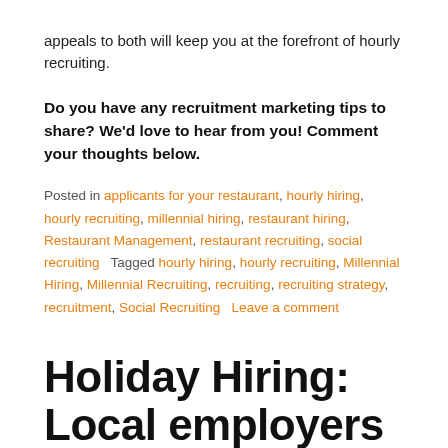appeals to both will keep you at the forefront of hourly recruiting.
Do you have any recruitment marketing tips to share? We'd love to hear from you! Comment your thoughts below.
Posted in applicants for your restaurant, hourly hiring, hourly recruiting, millennial hiring, restaurant hiring, Restaurant Management, restaurant recruiting, social recruiting   Tagged hourly hiring, hourly recruiting, Millennial Hiring, Millennial Recruiting, recruiting, recruiting strategy, recruitment, Social Recruiting   Leave a comment
Holiday Hiring: Local employers come up with ways to fill seasonal jobs